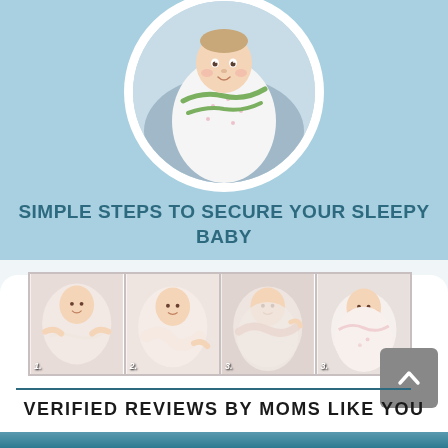[Figure (photo): Circular photo of a swaddled baby in a pink-and-white blanket with green ties, centered at top of page on light blue background]
SIMPLE STEPS TO SECURE YOUR SLEEPY BABY
[Figure (photo): Four-panel photo strip showing steps of swaddling a baby: step 1 baby lying with arms out, step 2 one side wrapped, step 3 tucking in, step 4 fully swaddled baby smiling]
[Figure (illustration): Grey square button with upward-pointing chevron arrow (scroll to top button)]
VERIFIED REVIEWS BY MOMS LIKE YOU